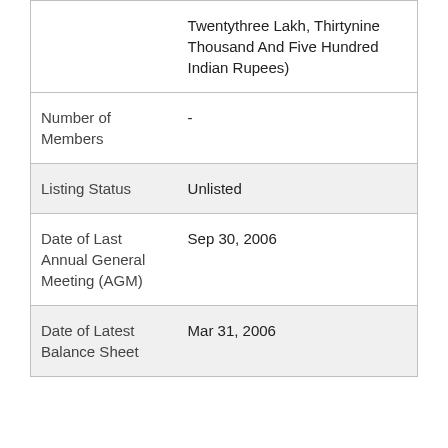|  | Twentythree Lakh, Thirtynine Thousand And Five Hundred Indian Rupees) |
| Number of Members | - |
| Listing Status | Unlisted |
| Date of Last Annual General Meeting (AGM) | Sep 30, 2006 |
| Date of Latest Balance Sheet | Mar 31, 2006 |